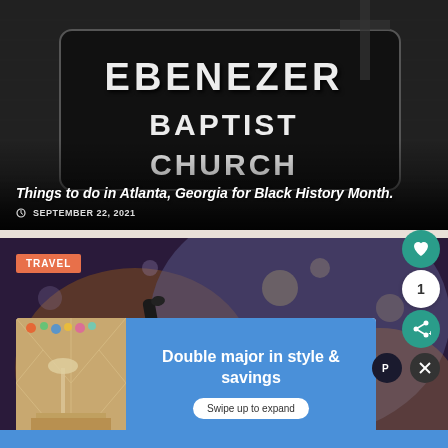[Figure (photo): Black and white photo of Ebenezer Baptist Church sign on a brick building]
Things to do in Atlanta, Georgia for Black History Month.
SEPTEMBER 22, 2021
[Figure (photo): Blurred bokeh background photo with a dark object (pen/stylus) in foreground, colorful bokeh lights]
TRAVEL
[Figure (screenshot): Advertisement overlay: Double major in style & savings, Swipe up to expand]